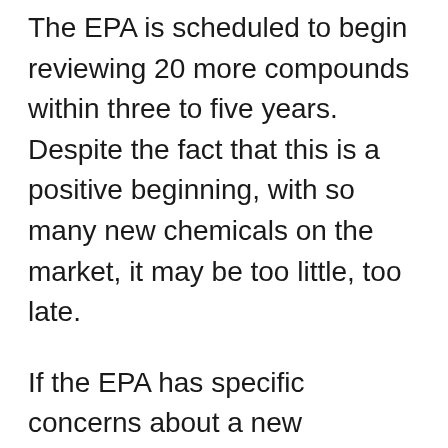The EPA is scheduled to begin reviewing 20 more compounds within three to five years. Despite the fact that this is a positive beginning, with so many new chemicals on the market, it may be too little, too late.
If the EPA has specific concerns about a new chemical, the new law makes it easier for the agency to request testing. However, unless outside pressure is applied, the EPA may not begin the process because it is not required to do